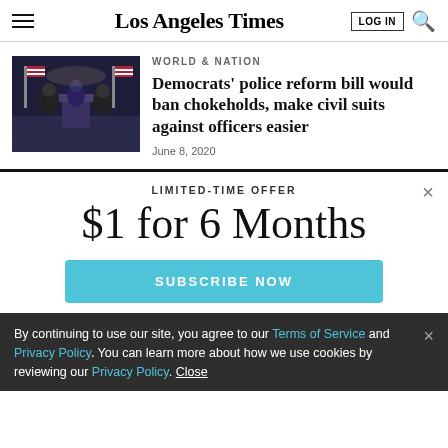Los Angeles Times
WORLD & NATION
Democrats' police reform bill would ban chokeholds, make civil suits against officers easier
June 8, 2020
[Figure (photo): Press conference photo with people at a podium with American flags in background]
LIMITED-TIME OFFER
$1 for 6 Months
SUBSCRIBE NOW
By continuing to use our site, you agree to our Terms of Service and Privacy Policy. You can learn more about how we use cookies by reviewing our Privacy Policy. Close